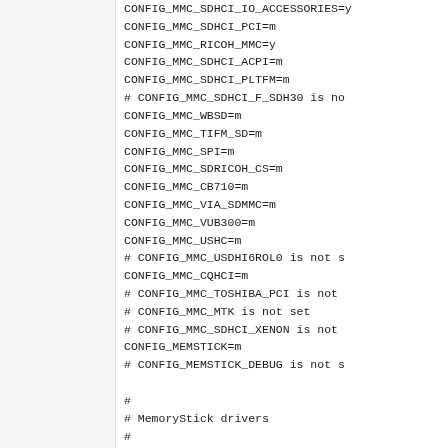CONFIG_MMC_SDHCI_IO_ACCESSORIES=y
CONFIG_MMC_SDHCI_PCI=m
CONFIG_MMC_RICOH_MMC=y
CONFIG_MMC_SDHCI_ACPI=m
CONFIG_MMC_SDHCI_PLTFM=m
# CONFIG_MMC_SDHCI_F_SDH30 is no
CONFIG_MMC_WBSD=m
CONFIG_MMC_TIFM_SD=m
CONFIG_MMC_SPI=m
CONFIG_MMC_SDRICOH_CS=m
CONFIG_MMC_CB710=m
CONFIG_MMC_VIA_SDMMC=m
CONFIG_MMC_VUB300=m
CONFIG_MMC_USHC=m
# CONFIG_MMC_USDHI6ROL0 is not s
CONFIG_MMC_CQHCI=m
# CONFIG_MMC_TOSHIBA_PCI is not
# CONFIG_MMC_MTK is not set
# CONFIG_MMC_SDHCI_XENON is not
CONFIG_MEMSTICK=m
# CONFIG_MEMSTICK_DEBUG is not s

#
# MemoryStick drivers
#
# CONFIG_MEMSTICK_UNSAFE_RESUME
CONFIG_MSPRO_BLOCK=m
# CONFIG_MS_BLOCK is not set

#
# MemoryStick Host Controller Dr
#
CONFIG_MEMSTICK_TIFM_MS